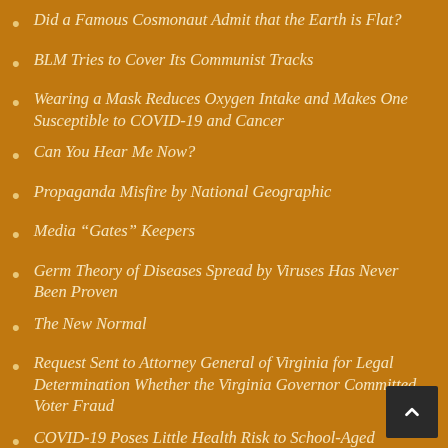Did a Famous Cosmonaut Admit that the Earth is Flat?
BLM Tries to Cover Its Communist Tracks
Wearing a Mask Reduces Oxygen Intake and Makes One Susceptible to COVID-19 and Cancer
Can You Hear Me Now?
Propaganda Misfire by National Geographic
Media “Gates” Keepers
Germ Theory of Diseases Spread by Viruses Has Never Been Proven
The New Normal
Request Sent to Attorney General of Virginia for Legal Determination Whether the Virginia Governor Committed Voter Fraud
COVID-19 Poses Little Health Risk to School-Aged Children
Chlorine Dioxide is a Safe and Effective Treatment for Malaria and Autism